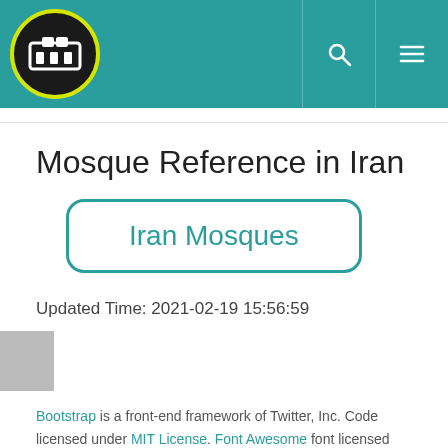Navigation bar with logo, search and menu icons
Mosque Reference in Iran
[Figure (other): A rounded rectangle button with teal border containing the link text 'Iran Mosques']
Updated Time: 2021-02-19 15:56:59
Bootstrap is a front-end framework of Twitter, Inc. Code licensed under MIT License. Font Awesome font licensed under SIL OFL 1.1.
Call Us
Share
Share